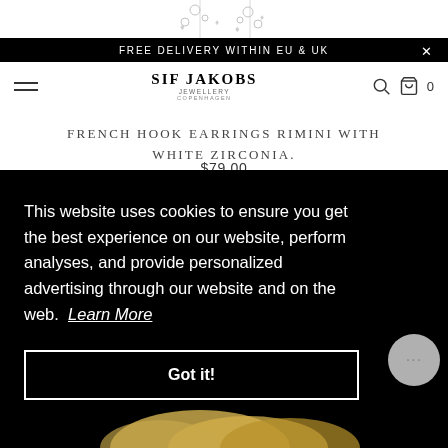[Figure (screenshot): Partial earring product image at top of page (cropped)]
FREE DELIVERY WITHIN EU & UK
[Figure (logo): SIF JAKOBS JEWELLERY COPENHAGEN logo in navigation bar]
FRENCH HOOK EARRINGS RIMINI WITH WHITE ZIRCONIA.
$79.00
This website uses cookies to ensure you get the best experience on our website, perform analyses, and provide personalized advertising through our website and on the web.  Learn More
Got it!
[Figure (photo): Gold jewellery piece visible at bottom of page]